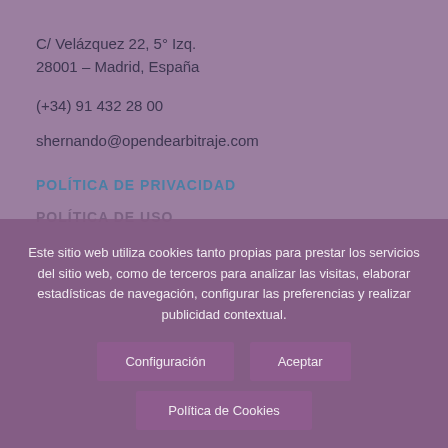C/ Velázquez 22, 5° Izq.
28001 – Madrid, España
(+34) 91 432 28 00
shernando@opendearbitraje.com
POLÍTICA DE PRIVACIDAD
política de uso
Este sitio web utiliza cookies tanto propias para prestar los servicios del sitio web, como de terceros para analizar las visitas, elaborar estadísticas de navegación, configurar las preferencias y realizar publicidad contextual.
Configuración
Aceptar
Política de Cookies